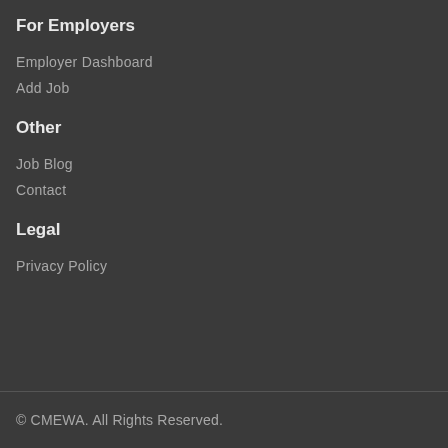For Employers
Employer Dashboard
Add Job
Other
Job Blog
Contact
Legal
Privacy Policy
© CMEWA. All Rights Reserved.